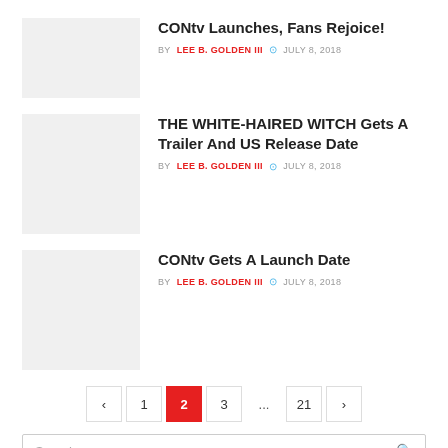CONtv Launches, Fans Rejoice! BY LEE B. GOLDEN III JULY 8, 2018
THE WHITE-HAIRED WITCH Gets A Trailer And US Release Date BY LEE B. GOLDEN III JULY 8, 2018
CONtv Gets A Launch Date BY LEE B. GOLDEN III JULY 8, 2018
< 1 2 3 ... 21 >
Search...
Categories